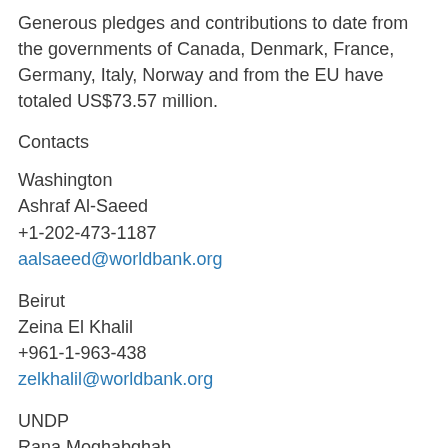Generous pledges and contributions to date from the governments of Canada, Denmark, France, Germany, Italy, Norway and from the EU have totaled US$73.57 million.
Contacts
Washington
Ashraf Al-Saeed
+1-202-473-1187
aalsaeed@worldbank.org
Beirut
Zeina El Khalil
+961-1-963-438
zelkhalil@worldbank.org
UNDP
Rana Moghabghab
+961-81-146-841